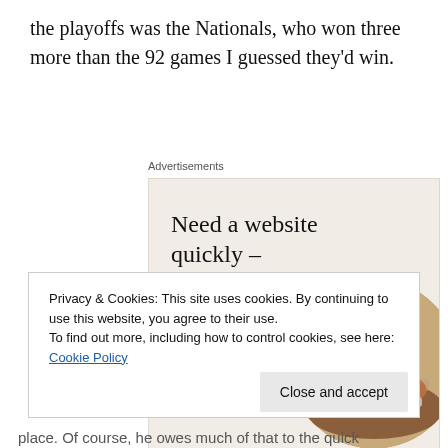the playoffs was the Nationals, who won three more than the 92 games I guessed they'd win.
Advertisements
[Figure (illustration): Advertisement box with beige/cream background. Large serif text reads 'Need a website quickly – and on a budget?' with subtitle 'Let us build it for you', a white button 'Let's get started', and a circular cropped photo of a person's hands on a laptop.]
Privacy & Cookies: This site uses cookies. By continuing to use this website, you agree to their use.
To find out more, including how to control cookies, see here: Cookie Policy
place. Of course, he owes much of that to the quick